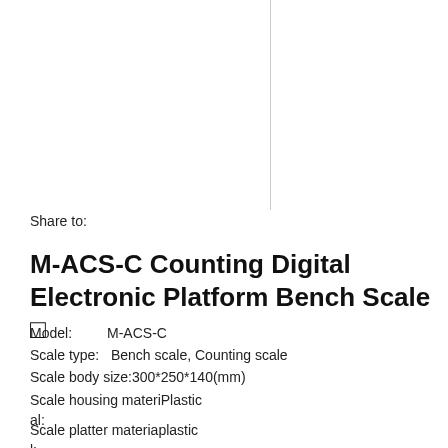Share to:
M-ACS-C Counting Digital Electronic Platform Bench Scale  □
Model:        M-ACS-C
Scale type:   Bench scale, Counting scale
Scale body size:300*250*140(mm)
Scale housing materiPlastic al:
Scale platter materiaplastic l: